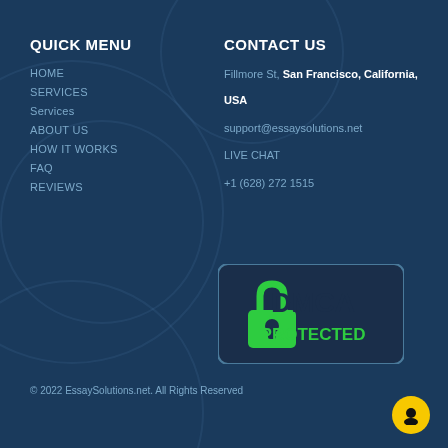QUICK MENU
HOME
SERVICES
Services
ABOUT US
HOW IT WORKS
FAQ
REVIEWS
CONTACT US
Fillmore St, San Francisco, California, USA
support@essaysolutions.net
LIVE CHAT
+1 (628) 272 1515
[Figure (logo): DMCA Protected badge with green padlock icon and dark blue background]
© 2022 EssaySolutions.net. All Rights Reserved